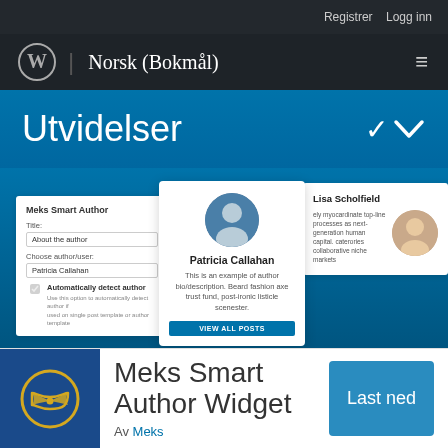Registrer   Logg inn
Norsk (Bokmål)
Utvidelser
[Figure (screenshot): Screenshot of WordPress plugin page for Meks Smart Author Widget showing admin panel and front-end author widget preview with Patricia Callahan and Lisa Scholfield profiles]
Meks Smart Author Widget
Av Meks
Last ned